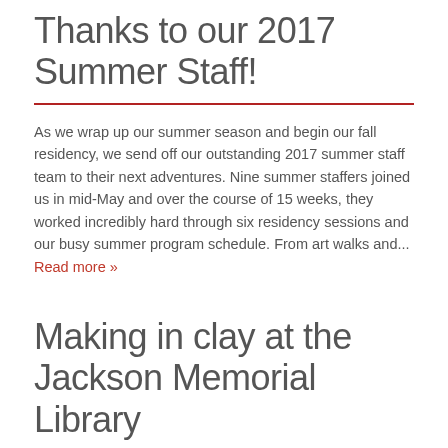Thanks to our 2017 Summer Staff!
As we wrap up our summer season and begin our fall residency, we send off our outstanding 2017 summer staff team to their next adventures. Nine summer staffers joined us in mid-May and over the course of 15 weeks, they worked incredibly hard through six residency sessions and our busy summer program schedule. From art walks and... Read more »
Making in clay at the Jackson Memorial Library